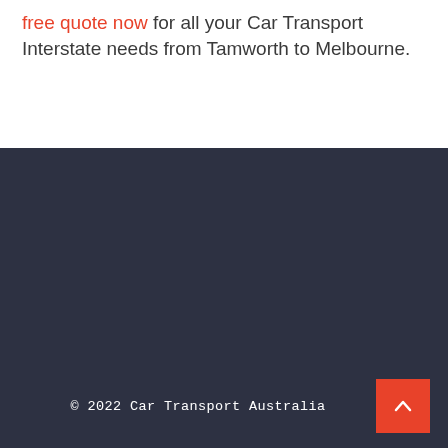free quote now for all your Car Transport Interstate needs from Tamworth to Melbourne.
© 2022 Car Transport Australia